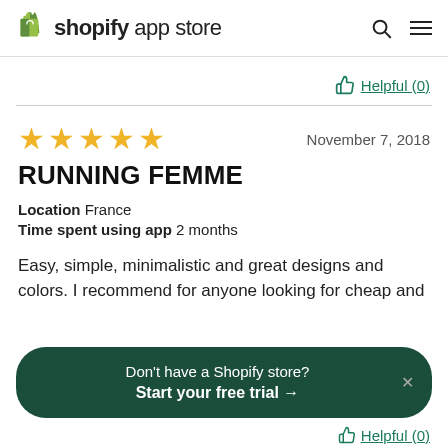shopify app store
Helpful (0)
★★★★★  November 7, 2018
RUNNING FEMME
Location   France
Time spent using app   2 months
Easy, simple, minimalistic and great designs and colors. I recommend for anyone looking for cheap and
Don't have a Shopify store? Start your free trial →
Helpful (0)